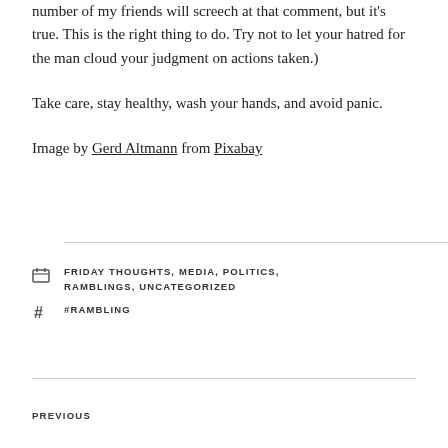number of my friends will screech at that comment, but it's true. This is the right thing to do. Try not to let your hatred for the man cloud your judgment on actions taken.)
Take care, stay healthy, wash your hands, and avoid panic.
Image by Gerd Altmann from Pixabay
FRIDAY THOUGHTS, MEDIA, POLITICS, RAMBLINGS, UNCATEGORIZED
#RAMBLING
PREVIOUS